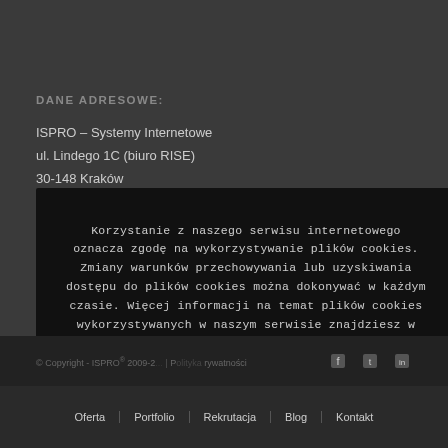DANE ADRESOWE:
ISPRO – Systemy Internetowe
ul. Lindego 1C (biuro RISE)
30-148 Kraków
NIP: 496-015-13-78
tel. +48...
e-mail: ...
Korzystanie z naszego serwisu internetowego oznacza zgodę na wykorzystywanie plików cookies. Zmiany warunków przechowywania lub uzyskiwania dostępu do plików cookies można dokonywać w każdym czasie. Więcej informacji na temat plików cookies wykorzystywanych w naszym serwisie znajdziesz w polityce prywatności.
OK
© Copyright - ISPRO® 2009-2... | Polityka Prywatności
Oferta | Portfolio | Rekrutacja | Blog | Kontakt